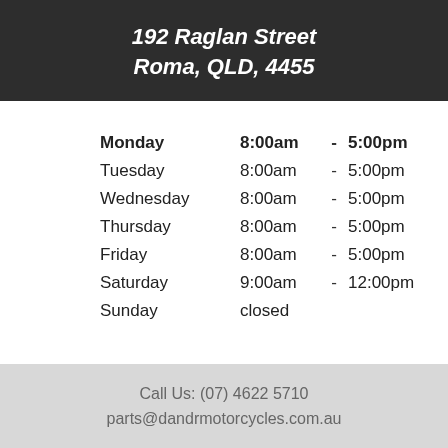192 Raglan Street Roma, QLD, 4455
| Day | Open |  | Close |
| --- | --- | --- | --- |
| Monday | 8:00am | - | 5:00pm |
| Tuesday | 8:00am | - | 5:00pm |
| Wednesday | 8:00am | - | 5:00pm |
| Thursday | 8:00am | - | 5:00pm |
| Friday | 8:00am | - | 5:00pm |
| Saturday | 9:00am | - | 12:00pm |
| Sunday | closed |  |  |
Call Us: (07) 4622 5710
parts@dandrmotorcycles.com.au